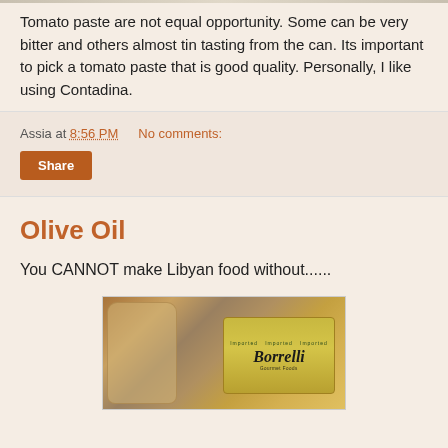Tomato paste are not equal opportunity. Some can be very bitter and others almost tin tasting from the can. Its important to pick a tomato paste that is good quality. Personally, I like using Contadina.
Assia at 8:56 PM   No comments:
Share
Olive Oil
You CANNOT make Libyan food without......
[Figure (photo): A bottle of Borrelli olive oil with green label, photographed against a tiled background]